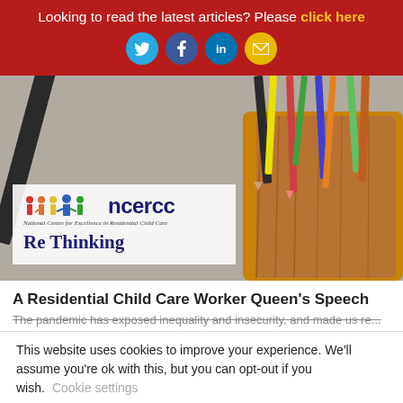Looking to read the latest articles? Please click here
[Figure (screenshot): NCERCC Re Thinking logo card overlaid on a photo of colored pencils in a wooden holder]
A Residential Child Care Worker Queen's Speech
The pandemic has exposed inequality and insecurity, and made us re...
This website uses cookies to improve your experience. We'll assume you're ok with this, but you can opt-out if you wish. Cookie settings
ACCEPT